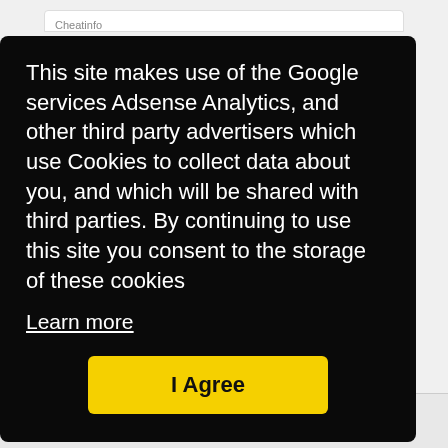Cheatinfo
This site makes use of the Google services Adsense Analytics, and other third party advertisers which use Cookies to collect data about you, and which will be shared with third parties. By continuing to use this site you consent to the storage of these cookies
Learn more
I Agree
Defense Grid 2 Trainer
© 2022 Cheatbook Magazine